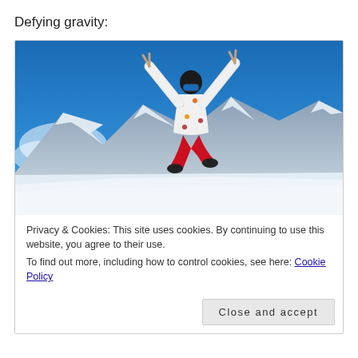Defying gravity:
[Figure (photo): A person in a colorful ski jacket, goggles, and red pants jumping high in the air with arms raised in a V shape, against a bright blue sky with snowy mountain ranges in the background.]
Privacy & Cookies: This site uses cookies. By continuing to use this website, you agree to their use.
To find out more, including how to control cookies, see here: Cookie Policy
Close and accept